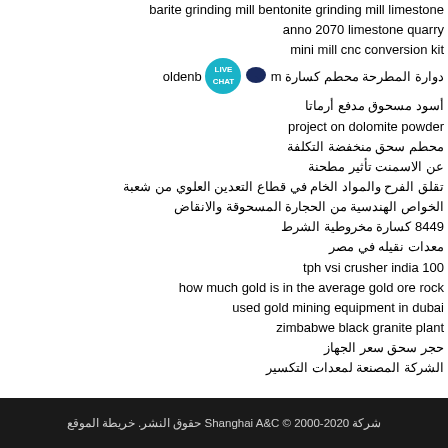barite grinding mill bentonite grinding mill limestone
anno 2070 limestone quarry
mini mill cnc conversion kit
دوارة المطرحة محطم كسارة oldenburg
أسود مسحوق مدفع أرماتا
project on dolomite powder
محطم سحق منخفضة التكلفة
عن الاسمنت تأثير مطحنة
تقلق الفرح والمواد الخام في قطاع التعدين العلوي من شعبة
الخواص الهندسية من الحجارة المسحوقة والانقاض
8449 كسارة مخروطية الشرط
معدات نقيله في مصر
tph vsi crusher india 100
how much gold is in the average gold ore rock
used gold mining equipment in dubai
zimbabwe black granite plant
حجر سحق سعر الجهاز
الشركة المصنعة لمعدات التكسير
شركة Shanghai A&C © 2000-2020 حقوق النشر. خريطة الموقع